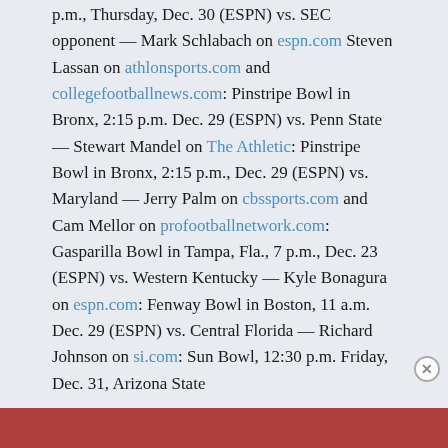p.m., Thursday, Dec. 30 (ESPN) vs. SEC opponent — Mark Schlabach on espn.com Steven Lassan on athlonsports.com and collegefootballnews.com: Pinstripe Bowl in Bronx, 2:15 p.m. Dec. 29 (ESPN) vs. Penn State — Stewart Mandel on The Athletic: Pinstripe Bowl in Bronx, 2:15 p.m., Dec. 29 (ESPN) vs. Maryland — Jerry Palm on cbssports.com and Cam Mellor on profootballnetwork.com: Gasparilla Bowl in Tampa, Fla., 7 p.m., Dec. 23 (ESPN) vs. Western Kentucky — Kyle Bonagura on espn.com: Fenway Bowl in Boston, 11 a.m. Dec. 29 (ESPN) vs. Central Florida — Richard Johnson on si.com: Sun Bowl, 12:30 p.m. Friday, Dec. 31, Arizona State
Photo by Jeffrey A.
Advertisements